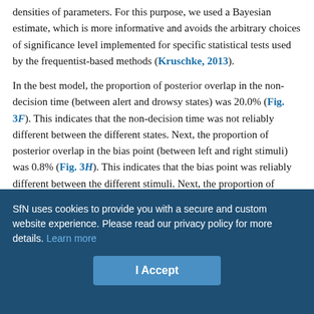densities of parameters. For this purpose, we used a Bayesian estimate, which is more informative and avoids the arbitrary choices of significance level implemented for specific statistical tests used by the frequentist-based methods (Kruschke, 2013).
In the best model, the proportion of posterior overlap in the non-decision time (between alert and drowsy states) was 20.0% (Fig. 3F). This indicates that the non-decision time was not reliably different between the different states. Next, the proportion of posterior overlap in the bias point (between left and right stimuli) was 0.8% (Fig. 3H). This indicates that the bias point was reliably different between the different stimuli. Next, the proportion of posterior overlap in the boundary (between alert and drowsy states) was 0% (Fig. 3J). This indicates that the boundary was reliably
SfN uses cookies to provide you with a secure and custom website experience. Please read our privacy policy for more details. Learn more